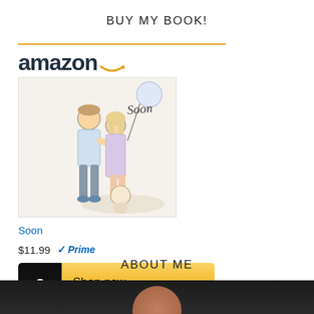BUY MY BOOK!
[Figure (screenshot): Amazon product widget showing a book called 'Soon' priced at $11.99 with Prime badge and Shop now button. The widget includes the Amazon logo with orange arrow, a book cover illustration of a couple with balloons, the book title 'Soon' as a link, the price $11.99 with a Prime checkmark badge, and a yellow Shop now button with black Amazon icon.]
ABOUT ME
[Figure (photo): Bottom portion of a dark background photo, partially visible, showing the top of a person's head.]